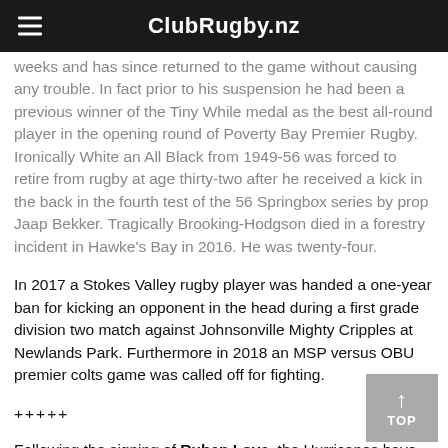ClubRugby.nz
weeks and has since returned to the game without causing any trouble. In fact prior to his suspension he had been a previous winner of the Tiny While medal as the best all-round player in the opening round of Poverty Bay Premier Rugby. Ironically White an All Black from 1949-56 was forced to retire from rugby at age thirty-two after he received a kick in the back in the fourth test of the 56 Springbox series by prop Jaap Bekker. Tragically Brooking-Hodgson died in a forestry incident in Hawke's Bay in 2016. He was twenty-four.
In 2017 a Stokes Valley rugby player was handed a one-year ban for kicking an opponent in the head during a first grade division two match against Johnsonville Mighty Cripples at Newlands Park. Furthermore in 2018 an MSP versus OBU premier colts game was called off for fighting.
+++++
Following the signing of Ruben Love, the Hurricanes have